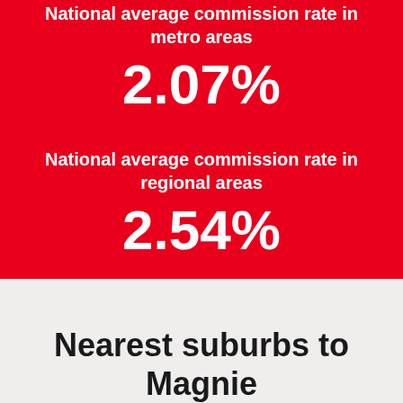National average commission rate in metro areas
2.07%
National average commission rate in regional areas
2.54%
Nearest suburbs to Magnie